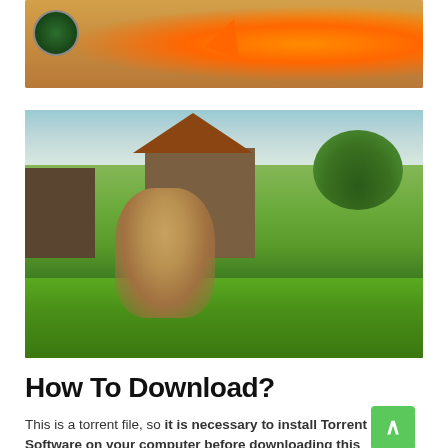[Figure (screenshot): Video game screenshot showing combat scene with animated characters, orange arrow projectile, and minimap in top-left corner with warm orange/brown background lighting effects]
[Figure (screenshot): Video game screenshot showing an anthropomorphic cat character in blue and yellow outfit sitting in a meadow pose, with Japanese-style village buildings in the background and lush green grass foreground]
How To Download?
This is a torrent file, so it is necessary to install Torrent Software on your computer before downloading this